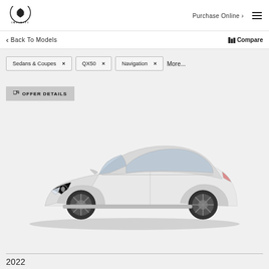[Figure (logo): INFINITI logo — circular double-arch emblem above the word INFINITI in uppercase]
Purchase Online >
< Back To Models
Compare
Sedans & Coupes ×
QX50 ×
Navigation ×
More...
OFFER DETAILS
[Figure (photo): White/silver INFINITI Q60 coupe facing right, shot in 3/4 front angle on a light grey background]
2022